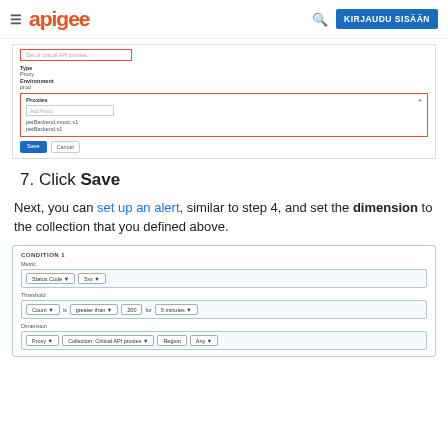apigee | KIRJAUDU SISÄÄN
[Figure (screenshot): Screenshot of API proxy collection form showing a red-bordered name field, Type: Proxy, Environment: prod, and a Proxies section with red border containing 'Add Proxy' input and two proxy entries (petBackend.music.v1, petBackend.v1), with Save and Cancel buttons. An annotation arrow points to the proxies box labeled 'Add API proxies'.]
7. Click Save
Next, you can set up an alert, similar to step 4, and set the dimension to the collection that you defined above.
[Figure (screenshot): Screenshot of CONDITION 1 form with Metric section showing Status Code and 5xx dropdowns, Threshold section showing Count, is, greater than, 200, for, 5 minutes dropdowns, and Dimension section showing Proxy, Collection: Critical API proxies, Region, Any dropdowns.]